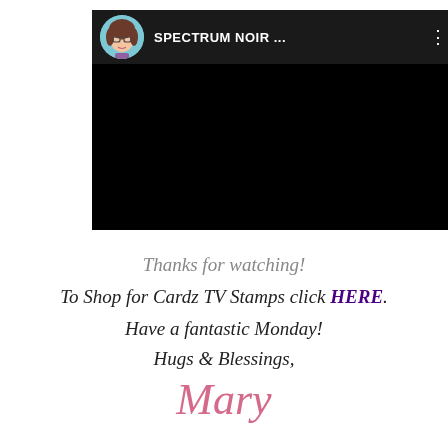[Figure (screenshot): YouTube video embed showing a channel named 'SPECTRUM NOIR ...' with a cartoon female avatar, black video content area, and three-dot menu icon]
Thanks for watching!
To Shop for Cardz TV Stamps click HERE.
Have a fantastic Monday!
Hugs & Blessings,
Mary